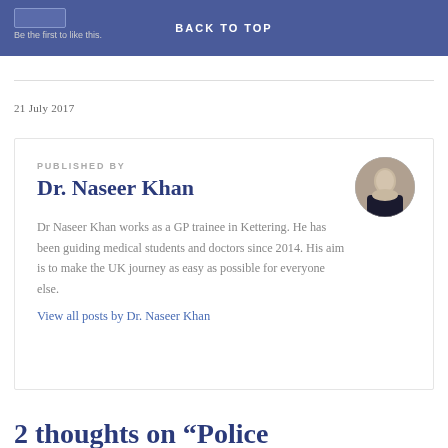BACK TO TOP
Be the first to like this.
21 July 2017
PUBLISHED BY
Dr. Naseer Khan
Dr Naseer Khan works as a GP trainee in Kettering. He has been guiding medical students and doctors since 2014. His aim is to make the UK journey as easy as possible for everyone else.
View all posts by Dr. Naseer Khan
2 thoughts on “Police